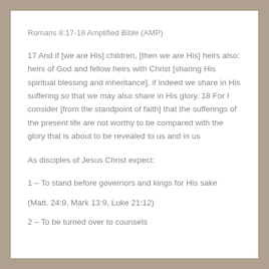Romans 8:17-18 Amplified Bible (AMP)
17 And if [we are His] children, [then we are His] heirs also: heirs of God and fellow heirs with Christ [sharing His spiritual blessing and inheritance], if indeed we share in His suffering so that we may also share in His glory. 18 For I consider [from the standpoint of faith] that the sufferings of the present life are not worthy to be compared with the glory that is about to be revealed to us and in us
As disciples of Jesus Christ expect:
1 – To stand before governors and kings for His sake
(Matt. 24:9, Mark 13:9, Luke 21:12)
2 – To be turned over to counsels